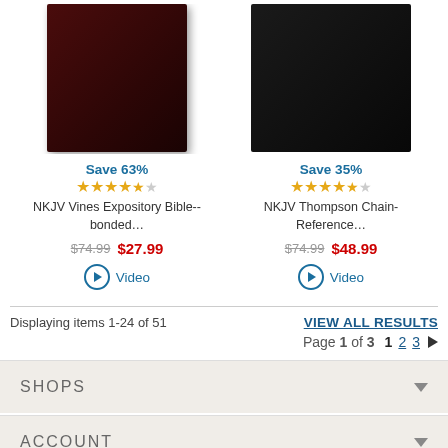[Figure (photo): Burgundy/dark red hardcover Bible book standing upright on left product slot]
Save 63%
★★★★½
NKJV Vines Expository Bible--bonded…
$74.99  $27.99
▶ Video
[Figure (photo): Black hardcover Bible book on right product slot]
Save 35%
★★★★½
NKJV Thompson Chain-Reference…
$74.99  $48.99
▶ Video
Displaying items 1-24 of 51
VIEW ALL RESULTS
Page 1 of 3    1    2    3    ▶
SHOPS
ACCOUNT